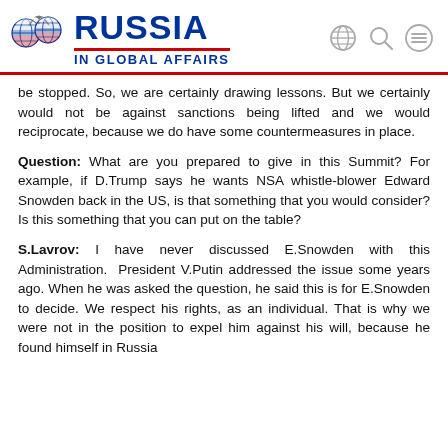RUSSIA IN GLOBAL AFFAIRS
be stopped. So, we are certainly drawing lessons. But we certainly would not be against sanctions being lifted and we would reciprocate, because we do have some countermeasures in place.
Question: What are you prepared to give in this Summit? For example, if D.Trump says he wants NSA whistle-blower Edward Snowden back in the US, is that something that you would consider? Is this something that you can put on the table?
S.Lavrov: I have never discussed E.Snowden with this Administration.  President V.Putin addressed the issue some years ago. When he was asked the question, he said this is for E.Snowden to decide. We respect his rights, as an individual. That is why we were not in the position to expel him against his will, because he found himself in Russia